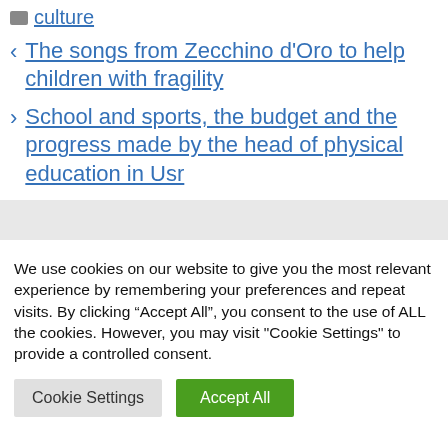culture
< The songs from Zecchino d'Oro to help children with fragility
> School and sports, the budget and the progress made by the head of physical education in Usr
We use cookies on our website to give you the most relevant experience by remembering your preferences and repeat visits. By clicking “Accept All”, you consent to the use of ALL the cookies. However, you may visit "Cookie Settings" to provide a controlled consent.